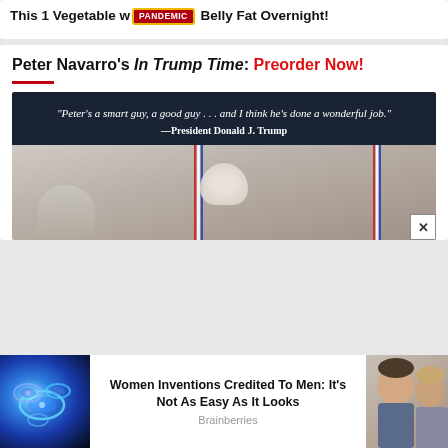This 1 Vegetable w... [PANDEMIC] Belly Fat Overnight!
Peter Navarro's In Trump Time: Preorder Now!
[Figure (photo): Dark blue banner with quote: "Peter's a smart guy, a good guy . . . and I think he's done a wonderful job." —President Donald J. Trump, followed by a photo showing American flags and figures in background]
[Figure (photo): Advertisement: Women Inventions Credited To Men: It's Not As Easy As It Looks - Brainberries. Shows glowing blue/purple bacteria image on left, and two people on the right.]
Brainberries